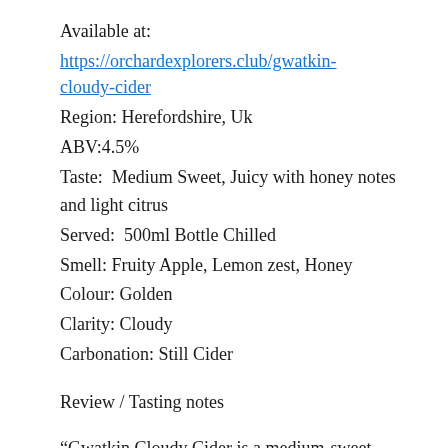Available at:
https://orchardexplorers.club/gwatkin-cloudy-cider
Region: Herefordshire, Uk
ABV:4.5%
Taste:  Medium Sweet, Juicy with honey notes and light citrus
Served:  500ml Bottle Chilled
Smell: Fruity Apple, Lemon zest, Honey
Colour: Golden
Clarity: Cloudy
Carbonation: Still Cider
Review / Tasting notes
“Gwatkin Cloudy Cider is a medium-sweet,